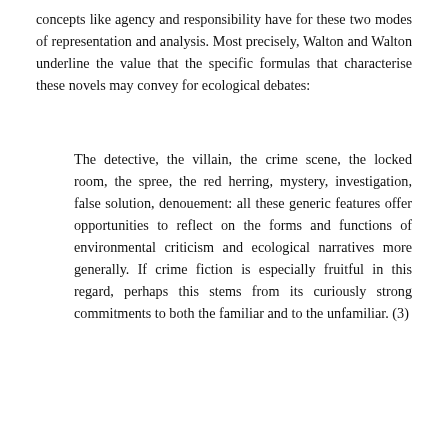concepts like agency and responsibility have for these two modes of representation and analysis. Most precisely, Walton and Walton underline the value that the specific formulas that characterise these novels may convey for ecological debates:
The detective, the villain, the crime scene, the locked room, the spree, the red herring, mystery, investigation, false solution, denouement: all these generic features offer opportunities to reflect on the forms and functions of environmental criticism and ecological narratives more generally. If crime fiction is especially fruitful in this regard, perhaps this stems from its curiously strong commitments to both the familiar and to the unfamiliar. (3)